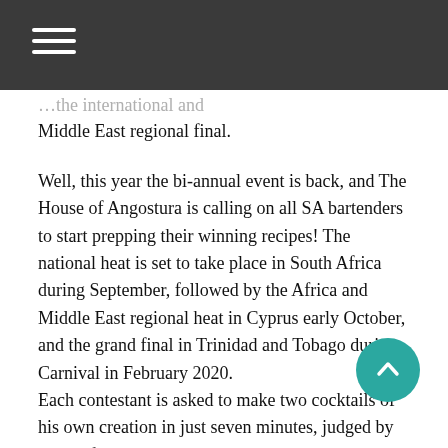…the international and Middle East regional final.
Well, this year the bi-annual event is back, and The House of Angostura is calling on all SA bartenders to start prepping their winning recipes! The national heat is set to take place in South Africa during September, followed by the Africa and Middle East regional heat in Cyprus early October, and the grand final in Trinidad and Tobago during Carnival in February 2020.
Each contestant is asked to make two cocktails of his own creation in just seven minutes, judged by some of the best in the business. The ultimate winner of the grand final will take the title of Angostura Global Cocktail Challenge Champion, USD$10,000 and a 1 year contract as Angostura's Global Brand Ambassador.